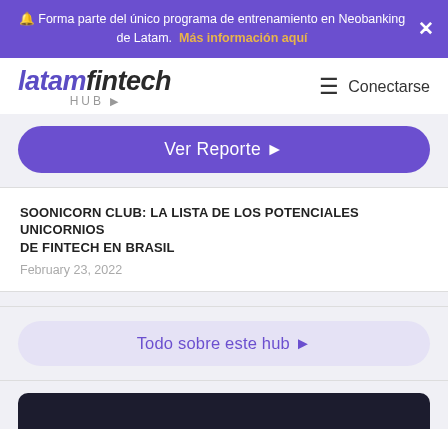🔔 Forma parte del único programa de entrenamiento en Neobanking de Latam. Más información aquí
[Figure (logo): latamfintech HUB logo in purple and dark gray with italic styling]
≡ Conectarse
Ver Reporte ▶
SOONICORN CLUB: LA LISTA DE LOS POTENCIALES UNICORNIOS DE FINTECH EN BRASIL
February 23, 2022
Todo sobre este hub ▶